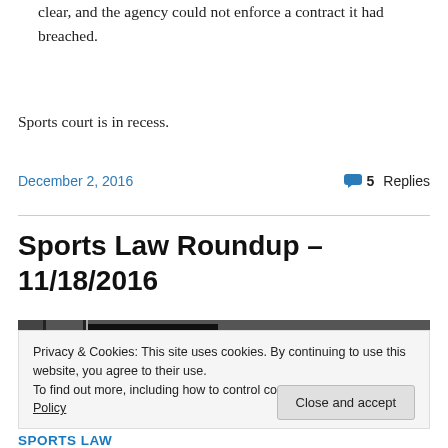clear, and the agency could not enforce a contract it had breached.
Sports court is in recess.
December 2, 2016    5 Replies
Sports Law Roundup – 11/18/2016
Privacy & Cookies: This site uses cookies. By continuing to use this website, you agree to their use.
To find out more, including how to control cookies, see here: Cookie Policy
Close and accept
SPORTS LAW